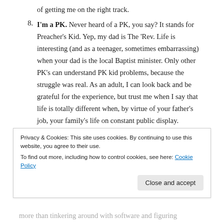of getting me on the right track.
8. I'm a PK. Never heard of a PK, you say? It stands for Preacher’s Kid. Yep, my dad is The ‘Rev. Life is interesting (and as a teenager, sometimes embarrassing) when your dad is the local Baptist minister. Only other PK’s can understand PK kid problems, because the struggle was real. As an adult, I can look back and be grateful for the experience, but trust me when I say that life is totally different when, by virtue of your father’s job, your family’s life on constant public display.
9. I geek out on I.T. stuff. You know your company’s resident
Privacy & Cookies: This site uses cookies. By continuing to use this website, you agree to their use.
To find out more, including how to control cookies, see here: Cookie Policy
more than tinkering around with software and figuring